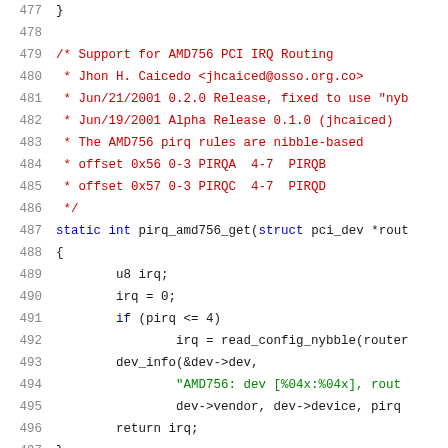Source code listing lines 477-498, showing AMD756 PCI IRQ Routing support code in C with comments and function pirq_amd756_get